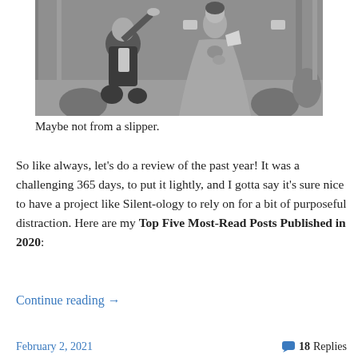[Figure (photo): Black and white vintage photo of an older man kneeling with one hand raised and a woman in a sparkly ball gown standing above him, in a formal ballroom setting with curtains and crowd in background.]
Maybe not from a slipper.
So like always, let's do a review of the past year! It was a challenging 365 days, to put it lightly, and I gotta say it's sure nice to have a project like Silent-ology to rely on for a bit of purposeful distraction. Here are my Top Five Most-Read Posts Published in 2020:
Continue reading →
February 2, 2021   💬 18 Replies